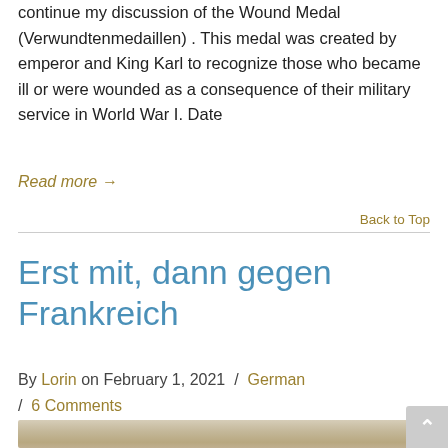continue my discussion of the Wound Medal (Verwundtenmedaillen) . This medal was created by emperor and King Karl to recognize those who became ill or were wounded as a consequence of their military service in World War I. Date
Read more →
Back to Top
Erst mit, dann gegen Frankreich
By Lorin on February 1, 2021 / German / 6 Comments
[Figure (photo): Partial view of a sepia-toned historical portrait photograph showing the top of a person's head with dark hair]